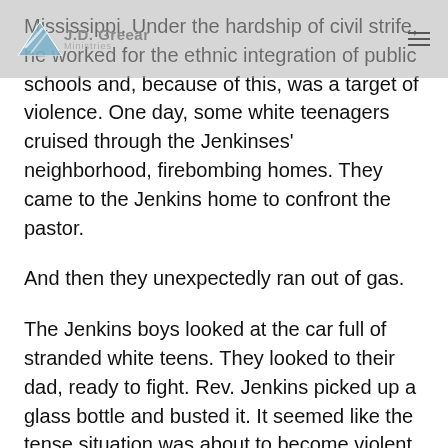Mississippi. Under the hardship of civil strife, he worked for the ethnic integration of public schools and, because of this, was a target of violence. One day, some white teenagers cruised through the Jenkinses' neighborhood, firebombing homes. They came to the Jenkins home to confront the pastor.
J.D. Greear Ministries
And then they unexpectedly ran out of gas.
The Jenkins boys looked at the car full of stranded white teens. They looked to their dad, ready to fight. Rev. Jenkins picked up a glass bottle and busted it. It seemed like the tense situation was about to become violent.
But then Rev. Jenkins did something that surprised both his sons and the white teenagers. He walked